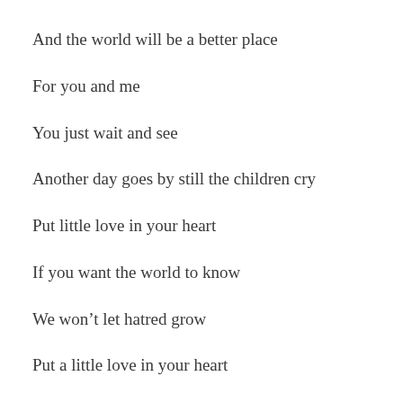And the world will be a better place
For you and me
You just wait and see
Another day goes by still the children cry
Put little love in your heart
If you want the world to know
We won't let hatred grow
Put a little love in your heart
Take a good look around